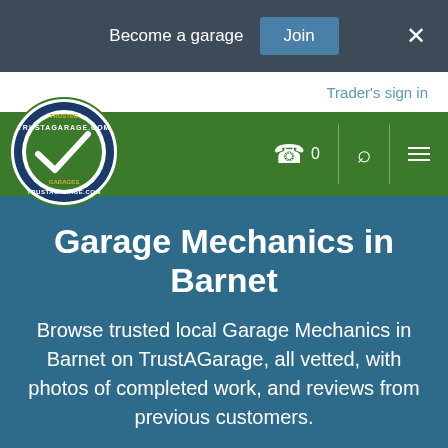Become a garage  Join  ×
Trader's sign in
[Figure (logo): TrustAGarage.com Trusted Garages circular logo with checkmark]
Garage Mechanics in Barnet
Browse trusted local Garage Mechanics in Barnet on TrustAGarage, all vetted, with photos of completed work, and reviews from previous customers.
[Figure (map): Street map showing Barnet area with Barnet Bypass road label, zoom controls (+/-), and partial neighborhood labels]